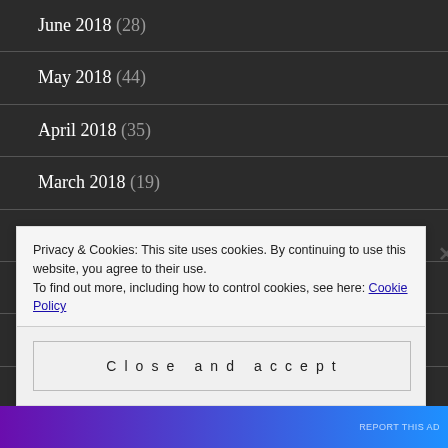June 2018 (28)
May 2018 (44)
April 2018 (35)
March 2018 (19)
February 2018 (24)
January 2018 (5)
April 2017 (2)
January 2017 (2)
Privacy & Cookies: This site uses cookies. By continuing to use this website, you agree to their use. To find out more, including how to control cookies, see here: Cookie Policy
Close and accept